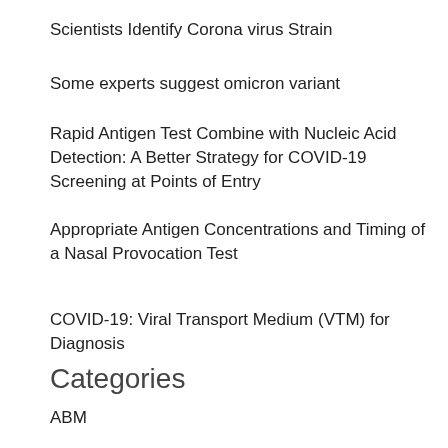Scientists Identify Corona virus Strain
Some experts suggest omicron variant
Rapid Antigen Test Combine with Nucleic Acid Detection: A Better Strategy for COVID-19 Screening at Points of Entry
Appropriate Antigen Concentrations and Timing of a Nasal Provocation Test
COVID-19: Viral Transport Medium (VTM) for Diagnosis
Categories
ABM
Antibodies
Apexbio
Aqua Clean
AquaClean